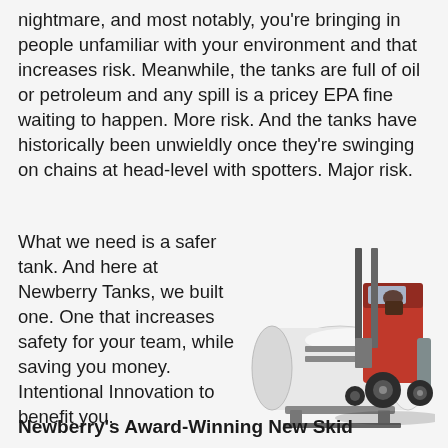nightmare, and most notably, you're bringing in people unfamiliar with your environment and that increases risk. Meanwhile, the tanks are full of oil or petroleum and any spill is a pricey EPA fine waiting to happen. More risk. And the tanks have historically been unwieldly once they're swinging on chains at head-level with spotters. Major risk.
What we need is a safer tank. And here at Newberry Tanks, we built one. One that increases safety for your team, while saving you money. Intentional Innovation to benefit you.
[Figure (photo): A white cylindrical fuel/oil tank being carried or positioned by an orange industrial forklift. The tank sits on a metal skid base.]
Newberry's Award-Winning New Skid